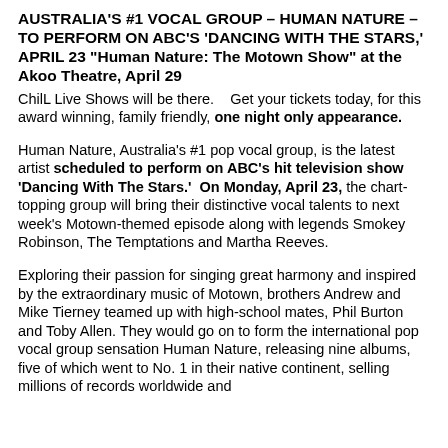AUSTRALIA'S #1 VOCAL GROUP – HUMAN NATURE – TO PERFORM ON ABC'S 'DANCING WITH THE STARS,' APRIL 23 "Human Nature: The Motown Show" at the Akoo Theatre, April 29
ChilL Live Shows will be there.    Get your tickets today, for this award winning, family friendly, one night only appearance.
Human Nature, Australia's #1 pop vocal group, is the latest artist scheduled to perform on ABC's hit television show 'Dancing With The Stars.'  On Monday, April 23, the chart-topping group will bring their distinctive vocal talents to next week's Motown-themed episode along with legends Smokey Robinson, The Temptations and Martha Reeves.
Exploring their passion for singing great harmony and inspired by the extraordinary music of Motown, brothers Andrew and Mike Tierney teamed up with high-school mates, Phil Burton and Toby Allen. They would go on to form the international pop vocal group sensation Human Nature, releasing nine albums, five of which went to No. 1 in their native continent, selling millions of records worldwide and